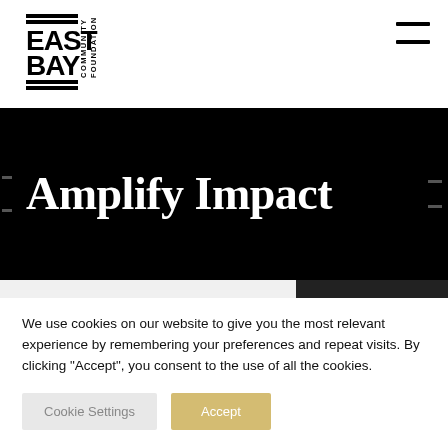[Figure (logo): East Bay Community Foundation logo with bold text and horizontal lines]
Amplify Impact
We use cookies on our website to give you the most relevant experience by remembering your preferences and repeat visits. By clicking “Accept”, you consent to the use of all the cookies.